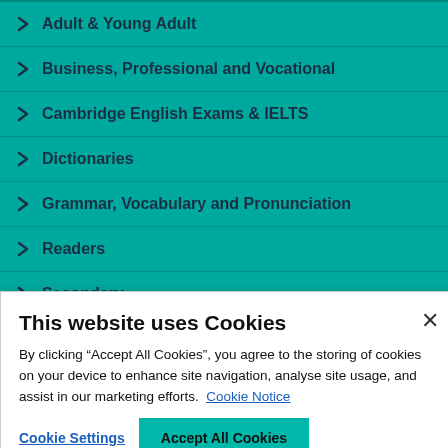Adult & Young Adult
Business, Professional and Vocational
Cambridge English Exams & IELTS
Dictionaries
Grammar, Vocabulary and Pronunciation
Readers
Secondary
This website uses Cookies
By clicking “Accept All Cookies”, you agree to the storing of cookies on your device to enhance site navigation, analyse site usage, and assist in our marketing efforts. Cookie Notice
Cookie Settings   Accept All Cookies